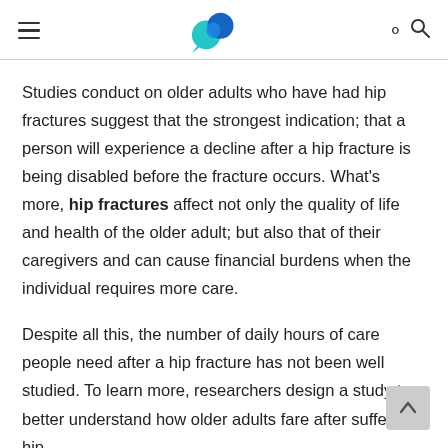Navigation header with hamburger menu, logo, and search icon
Studies conduct on older adults who have had hip fractures suggest that the strongest indication; that a person will experience a decline after a hip fracture is being disabled before the fracture occurs. What's more, hip fractures affect not only the quality of life and health of the older adult; but also that of their caregivers and can cause financial burdens when the individual requires more care.
Despite all this, the number of daily hours of care people need after a hip fracture has not been well studied. To learn more, researchers design a study to better understand how older adults fare after suffering hip